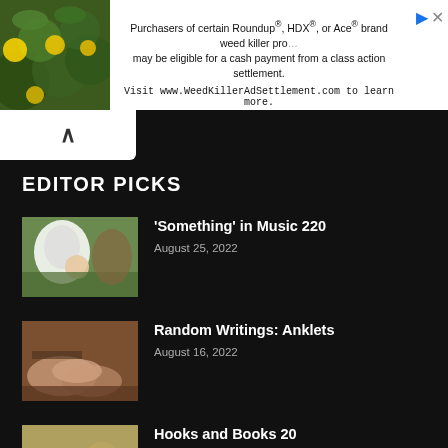[Figure (screenshot): Advertisement banner: green leafy background on left, text about Roundup/HDX/Ace brand weed killer class action settlement, visit WeedKillerAdSettlement.com]
Purchasers of certain Roundup®, HDX®, or Ace® brand weed killer products may be eligible for a cash payment from a class action settlement. Visit www.WeedKillerAdSettlement.com to learn more.
EDITOR PICKS
[Figure (photo): Thumbnail image of person in white costume (unicorn/horse costume) outdoors]
'Something' in Music 220
August 25, 2022
[Figure (photo): Thumbnail image of feet/ankles close-up]
Random Writings: Anklets
August 16, 2022
[Figure (photo): Thumbnail image of person lying down reading a book]
Hooks and Books 20
August 9, 2022